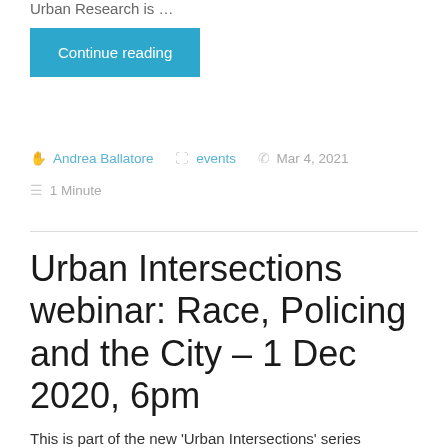Urban Research is …
Continue reading
Andrea Ballatore   events   Mar 4, 2021   1 Minute
Urban Intersections webinar: Race, Policing and the City – 1 Dec 2020, 6pm
This is part of the new 'Urban Intersections' series